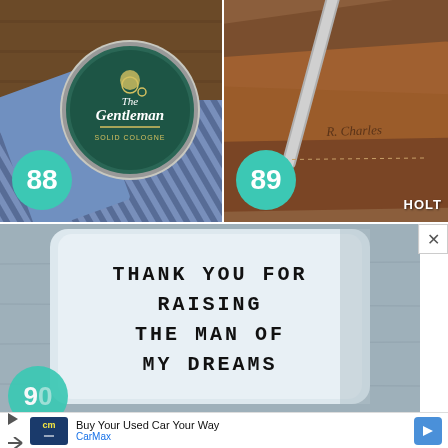[Figure (photo): Photo of a round tin of 'The Gentleman Solid Cologne' product sitting on a blue striped tie on a wooden surface. Number badge 88 in teal circle at bottom left.]
[Figure (photo): Photo of brown leather pen holders/cases stamped with 'R. Charles' and 'HOLT' branding. Number badge 89 in teal circle at bottom left.]
[Figure (photo): Photo of a metal flask engraved with text 'THANK YOU FOR RAISING THE MAN OF MY DREAMS' on a gray stone surface. Number badge 90 partially visible at bottom left.]
[Figure (infographic): CarMax advertisement banner at bottom: 'Buy Your Used Car Your Way' with CarMax logo and blue arrow icon.]